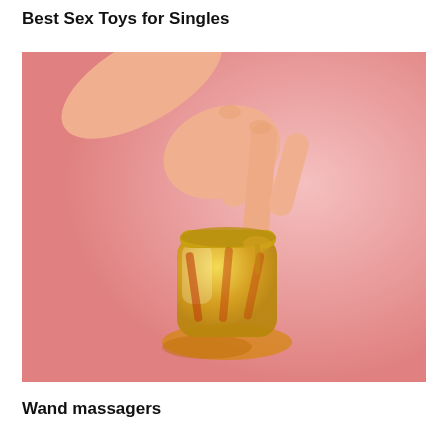Best Sex Toys for Singles
[Figure (photo): A hand dipping two fingers into a small glass jar filled with golden/amber oil on a pink background, with oil spilled around the base of the jar.]
Wand massagers